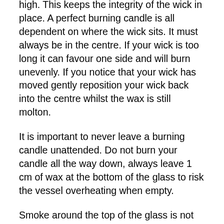high.  This keeps the integrity of the wick in place.  A perfect burning candle is all dependent on where the wick sits.  It must always be in the centre. If your wick is too long it can favour one side and will burn unevenly. If you notice that your wick has moved gently reposition your wick back into the centre whilst the wax is still molton.
It is important to never leave a burning candle unattended. Do not burn your candle all the way down, always leave 1 cm of wax at the bottom of the glass to risk the vessel overheating when empty.
Smoke around the top of the glass is not uncommon. There is always going to be a little soot left on your glass especially if your candle is burning for a long time.  Use a damp cloth or a baby wipe to clean the glass leaving it crystal clear.    The smoke is due to the flame and the fragrance oil burning. You will notice a